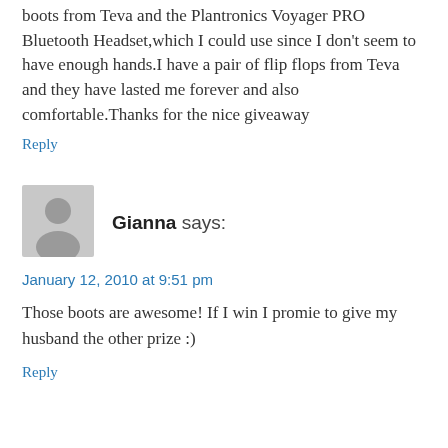boots from Teva and the Plantronics Voyager PRO Bluetooth Headset,which I could use since I don't seem to have enough hands.I have a pair of flip flops from Teva and they have lasted me forever and also comfortable.Thanks for the nice giveaway
Reply
[Figure (illustration): Generic grey user avatar silhouette]
Gianna says:
January 12, 2010 at 9:51 pm
Those boots are awesome! If I win I promie to give my husband the other prize :)
Reply